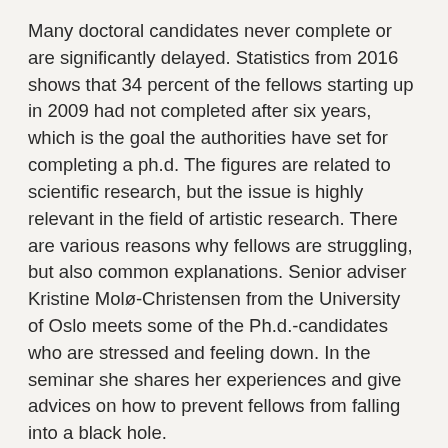Many doctoral candidates never complete or are significantly delayed. Statistics from 2016 shows that 34 percent of the fellows starting up in 2009 had not completed after six years, which is the goal the authorities have set for completing a ph.d. The figures are related to scientific research, but the issue is highly relevant in the field of artistic research. There are various reasons why fellows are struggling, but also common explanations. Senior adviser Kristine Molø-Christensen from the University of Oslo meets some of the Ph.d.-candidates who are stressed and feeling down. In the seminar she shares her experiences and give advices on how to prevent fellows from falling into a black hole.
In addition, Ellen Ugelvik, deputy chair of the Research School Board, will contribute with reflections on theory and methods - concepts that were widely discussed both during the revision of the research school's training component and in the annual dialogue meeting organized by the research school in June 2019. How do